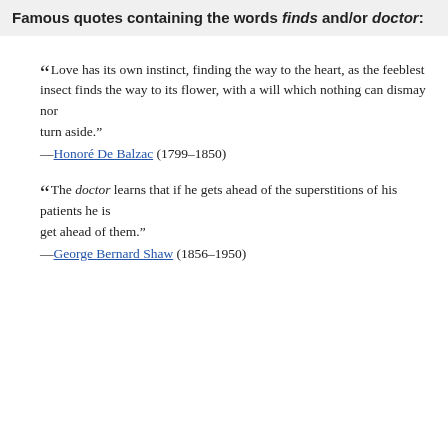Famous quotes containing the words finds and/or doctor:
“Love has its own instinct, finding the way to the heart, as the feeblest insect finds the way to its flower, with a will which nothing can dismay nor turn aside.”
—Honoré De Balzac (1799–1850)
“The doctor learns that if he gets ahead of the superstitions of his patients he is lost if he does not know how to pretend to believe in them yet manage to get ahead of them.”
—George Bernard Shaw (1856–1950)